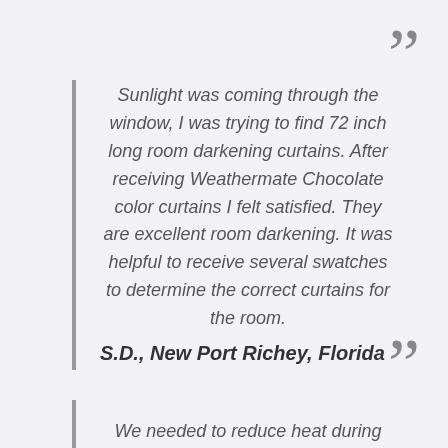Sunlight was coming through the window, I was trying to find 72 inch long room darkening curtains. After receiving Weathermate Chocolate color curtains I felt satisfied. They are excellent room darkening. It was helpful to receive several swatches to determine the correct curtains for the room.
S.D., New Port Richey, Florida
We needed to reduce heat during hot